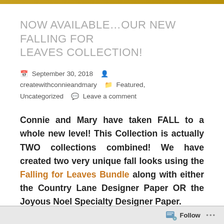NOW AVAILABLE…OUR NEW FALLING FOR LEAVES COLLECTION!
September 30, 2018  createwithconnieandmary  Featured, Uncategorized  Leave a comment
Connie and Mary have taken FALL to a whole new level! This Collection is actually TWO collections combined! We have created two very unique fall looks using the Falling for Leaves Bundle along with either the Country Lane Designer Paper OR the Joyous Noel Specialty Designer Paper.
Follow